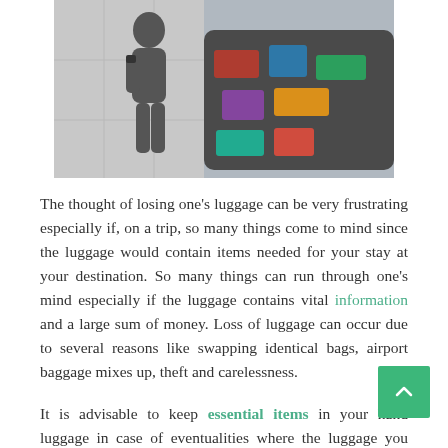[Figure (photo): Person at an airport baggage carousel picking up luggage from a conveyor belt, viewed from above and behind.]
The thought of losing one’s luggage can be very frustrating especially if, on a trip, so many things come to mind since the luggage would contain items needed for your stay at your destination. So many things can run through one’s mind especially if the luggage contains vital information and a large sum of money. Loss of luggage can occur due to several reasons like swapping identical bags, airport baggage mixes up, theft and carelessness.
It is advisable to keep essential items in your hand luggage in case of eventualities where the luggage you checked in gets missing, you won’t be stranded. It is also important that you label your